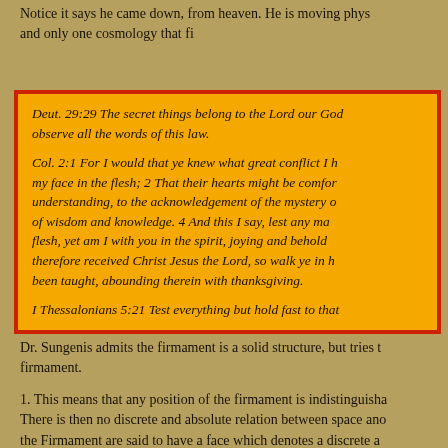Notice it says he came down, from heaven. He is moving phys… and only one cosmology that fi…
Deut. 29:29 The secret things belong to the Lord our God… observe all the words of this law.

Col. 2:1 For I would that ye knew what great conflict I h… my face in the flesh; 2 That their hearts might be comfor… understanding, to the acknowledgement of the mystery o… of wisdom and knowledge. 4 And this I say, lest any ma… flesh, yet am I with you in the spirit, joying and behold… therefore received Christ Jesus the Lord, so walk ye in h… been taught, abounding therein with thanksgiving.

I Thessalonians 5:21 Test everything but hold fast to that…
Dr. Sungenis admits the firmament is a solid structure, but tries t… firmament.
1. This means that any position of the firmament is indistinguisha… There is then no discrete and absolute relation between space ano… the Firmament are said to have a face which denotes a discrete a…